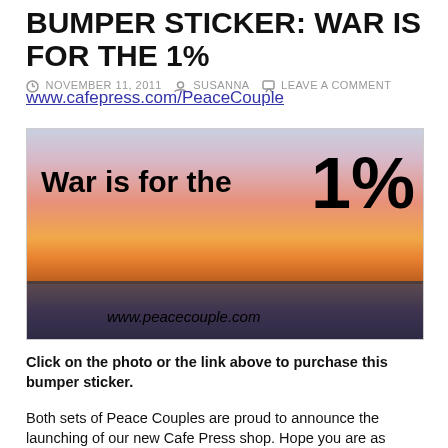BUMPER STICKER: WAR IS FOR THE 1%
NOVEMBER 11, 2011  SUSANNA  LEAVE A COMMENT
www.cafepress.com/PeaceCouple
[Figure (photo): Bumper sticker showing 'War is for the 1%' text over a sunset/ocean background with www.peacecouple.com URL]
Click on the photo or the link above to purchase this bumper sticker.
Both sets of Peace Couples are proud to announce the launching of our new Cafe Press shop. Hope you are as eager